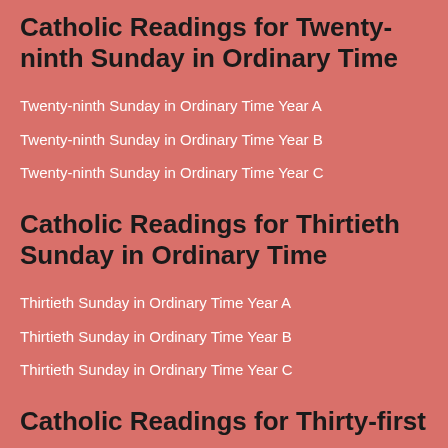Catholic Readings for Twenty-ninth Sunday in Ordinary Time
Twenty-ninth Sunday in Ordinary Time Year A
Twenty-ninth Sunday in Ordinary Time Year B
Twenty-ninth Sunday in Ordinary Time Year C
Catholic Readings for Thirtieth Sunday in Ordinary Time
Thirtieth Sunday in Ordinary Time Year A
Thirtieth Sunday in Ordinary Time Year B
Thirtieth Sunday in Ordinary Time Year C
Catholic Readings for Thirty-first